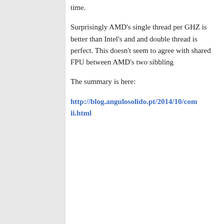time.
Surprisingly AMD's single thread per GHZ is better than Intel's and and double thread is perfect. This doesn't seem to agree with shared FPU between AMD's two sibbling
The summary is here:
http://blog.angulosolido.pt/2014/10/cor... ii.html
Henry
2014/10/08 at 11:00 p
[Figure (illustration): Gray avatar/placeholder image of a person silhouette]
wcalc is also an inte... about 0.6% floating-p... really floating-point, the runtime wou... depend on the size of the numbers. ... implementation is to use FYL2X and... and multiply, then anti-log). It wouldn... seem to be expecting. (Hint: "arbitra... are likely integer, because floating-p... x87 uses 80-bit floats.)
I think your timing script also has so...